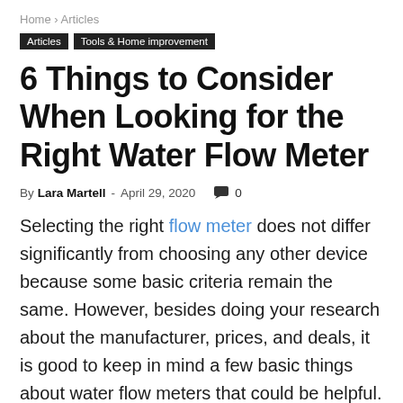Home › Articles
Articles | Tools & Home improvement
6 Things to Consider When Looking for the Right Water Flow Meter
By Lara Martell - April 29, 2020  💬 0
Selecting the right flow meter does not differ significantly from choosing any other device because some basic criteria remain the same. However, besides doing your research about the manufacturer, prices, and deals, it is good to keep in mind a few basic things about water flow meters that could be helpful. That is why we created this basic framework that will provide you with all the basics...